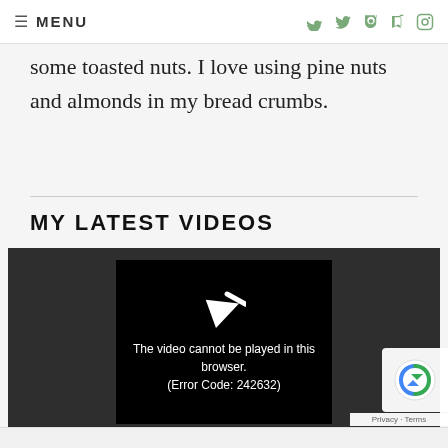MENU
some toasted nuts. I love using pine nuts and almonds in my bread crumbs.
MY LATEST VIDEOS
[Figure (screenshot): Video player showing error: The video cannot be played in this browser. (Error Code: 242632)]